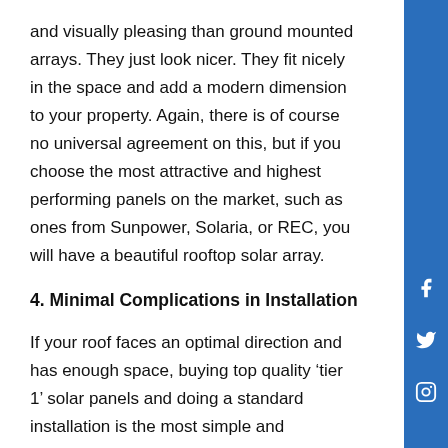and visually pleasing than ground mounted arrays. They just look nicer. They fit nicely in the space and add a modern dimension to your property. Again, there is of course no universal agreement on this, but if you choose the most attractive and highest performing panels on the market, such as ones from Sunpower, Solaria, or REC, you will have a beautiful rooftop solar array.
4. Minimal Complications in Installation
If your roof faces an optimal direction and has enough space, buying top quality ‘tier 1’ solar panels and doing a standard installation is the most simple and straightforward option. It’s the most common type of installation, so your solar contractor and installer will